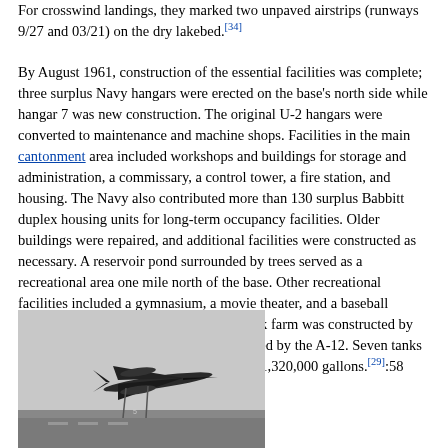For crosswind landings, they marked two unpaved airstrips (runways 9/27 and 03/21) on the dry lakebed.[34]
By August 1961, construction of the essential facilities was complete; three surplus Navy hangars were erected on the base's north side while hangar 7 was new construction. The original U-2 hangars were converted to maintenance and machine shops. Facilities in the main cantonment area included workshops and buildings for storage and administration, a commissary, a control tower, a fire station, and housing. The Navy also contributed more than 130 surplus Babbitt duplex housing units for long-term occupancy facilities. Older buildings were repaired, and additional facilities were constructed as necessary. A reservoir pond surrounded by trees served as a recreational area one mile north of the base. Other recreational facilities included a gymnasium, a movie theater, and a baseball diamond.[34] A permanent aircraft fuel tank farm was constructed by early 1962 for the special JP-7 fuel required by the A-12. Seven tanks were constructed, with a total capacity of 1,320,000 gallons.[29]:58
[Figure (photo): Black and white photograph of an aircraft, likely the A-12, in flight or on ground, showing a sleek delta-wing design.]